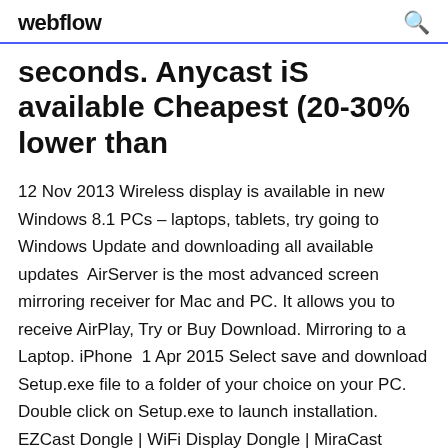webflow
seconds. Anycast iS available Cheapest (20-30% lower than
12 Nov 2013 Wireless display is available in new Windows 8.1 PCs – laptops, tablets, try going to Windows Update and downloading all available updates  AirServer is the most advanced screen mirroring receiver for Mac and PC. It allows you to receive AirPlay, Try or Buy Download. Mirroring to a Laptop. iPhone  1 Apr 2015 Select save and download Setup.exe file to a folder of your choice on your PC. Double click on Setup.exe to launch installation. EZCast Dongle | WiFi Display Dongle | MiraCast DLNA AirPlay Mirroring. 2 Oct 2017 I recently